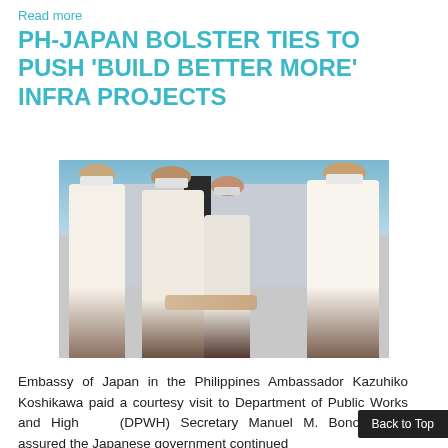Read more
PH-JAPAN BOLSTER TIES TO PUSH 'BUILD BETTER MORE' INFRA PROJECTS
[Figure (photo): Philippine and Japanese officials in formal wear and face masks shaking hands at the entrance of a building. Four men are visible, two in the center shaking hands, one on the left and one standing in the background.]
Embassy of Japan in the Philippines Ambassador Kazuhiko Koshikawa paid a courtesy visit to Department of Public Works and Highways (DPWH) Secretary Manuel M. Bonoan and assured the Japanese government continued